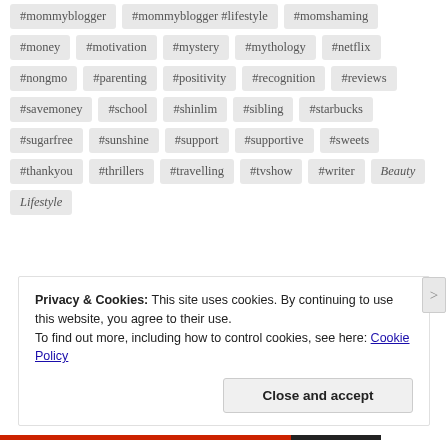#money #motivation #mystery #mythology #netflix
#nongmo #parenting #positivity #recognition #reviews
#savemoney #school #shinlim #sibling #starbucks
#sugarfree #sunshine #support #supportive #sweets
#thankyou #thrillers #travelling #tvshow #writer Beauty
Lifestyle
Privacy & Cookies: This site uses cookies. By continuing to use this website, you agree to their use.
To find out more, including how to control cookies, see here: Cookie Policy
Close and accept